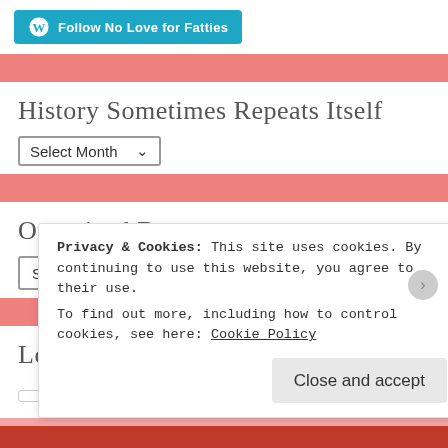[Figure (screenshot): WordPress Follow button for 'No Love for Fatties' blog]
History Sometimes Repeats Itself
[Figure (screenshot): Select Month dropdown]
Organized By:
[Figure (screenshot): Select Category dropdown]
Looking For Something Specific?
[Figure (screenshot): Search box with coral search button]
Privacy & Cookies: This site uses cookies. By continuing to use this website, you agree to their use.
To find out more, including how to control cookies, see here: Cookie Policy
Close and accept